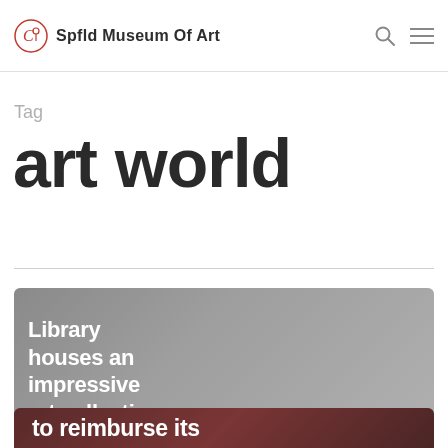Spfld Museum Of Art
Tag
art world
[Figure (screenshot): Gray gradient card with white bold text reading 'Library houses an impressive art collection']
[Figure (photo): Dark reddish-brown card partially visible at bottom with white bold text 'to reimburse its']